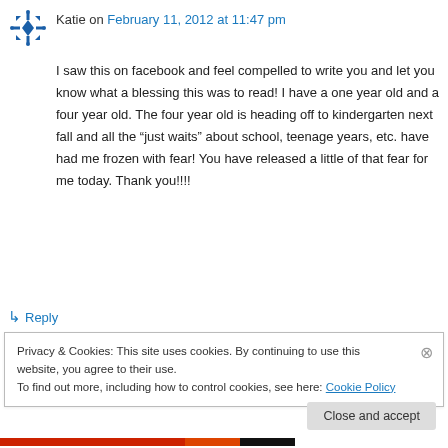[Figure (logo): Blue geometric/snowflake avatar icon]
Katie on February 11, 2012 at 11:47 pm
I saw this on facebook and feel compelled to write you and let you know what a blessing this was to read! I have a one year old and a four year old. The four year old is heading off to kindergarten next fall and all the “just waits” about school, teenage years, etc. have had me frozen with fear! You have released a little of that fear for me today. Thank you!!!!
↳ Reply
Privacy & Cookies: This site uses cookies. By continuing to use this website, you agree to their use.
To find out more, including how to control cookies, see here: Cookie Policy
Close and accept